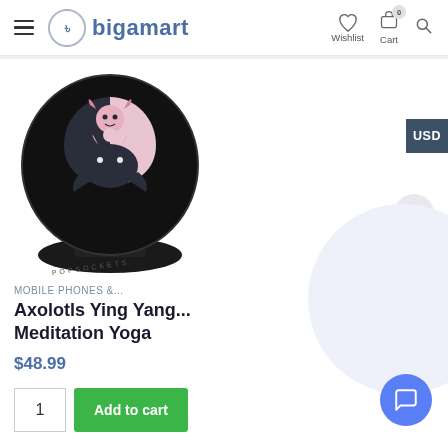bigamart | Wishlist | Cart | Search
[Figure (photo): A black PopSocket grip with an Axolotl Ying Yang Meditation Yoga design featuring two axolotls in a yin-yang style with pink accents on a black circular top, mounted on a black PopSockets base.]
MOBILE PHONES &...
Axolotls Ying Yang... Meditation Yoga
$48.99
1  Add to cart